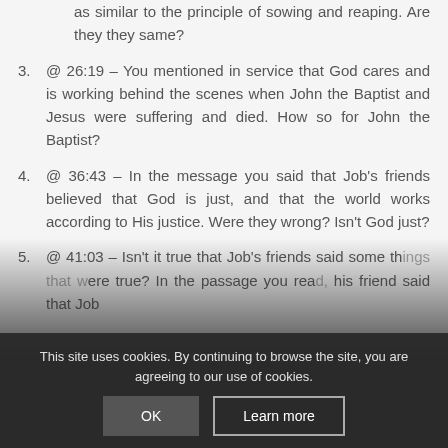as similar to the principle of sowing and reaping. Are they they same?
3. @ 26:19 – You mentioned in service that God cares and is working behind the scenes when John the Baptist and Jesus were suffering and died. How so for John the Baptist?
4. @ 36:43 – In the message you said that Job's friends believed that God is just, and that the world works according to His justice. Were they wrong? Isn't God just?
5. @ 41:03 – Isn't it true that Job's friends said some th[ings] [that] [w]ere true? In the passage you rea[d,] his friend said that Job
This site uses cookies. By continuing to browse the site, you are agreeing to our use of cookies.